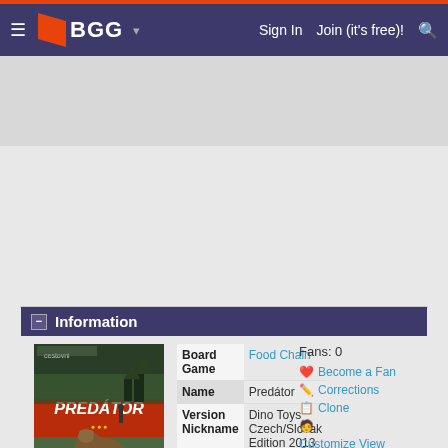BGG — Sign In  Join (it's free)!
Information
[Figure (photo): Board game box cover for Predátor (Food Chain) showing a bear and hunting scene]
Browse 8 Images » wrong image?
| Field | Value |
| --- | --- |
| Board Game | Food Chain |
| Name | Predátor |
| Version Nickname | Dino Toys Czech/Slovak Edition 2013 |
| Alternate Nickname |  |
| Version Publisher | Dino Toys s. r. o. |
| Version Artist | Raimo Koppel Gints Rudzītis |
| Year Released | 2013 |
Fans: 0
Become a Fan
Corrections
Clone
Customize View
Subscribe
RSS Feed
ObjectID: 217472